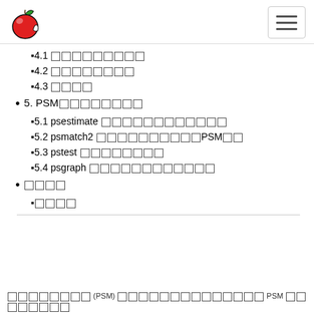Apple logo and navigation menu
4.1 [CJK characters]
4.2 [CJK characters]
4.3 [CJK characters]
5. PSM[CJK characters]
5.1 psestimate [CJK characters]
5.2 psmatch2 [CJK characters]PSM[CJK]
5.3 pstest [CJK characters]
5.4 psgraph [CJK characters]
[CJK characters]
[CJK characters]
[CJK] (PSM) [CJK characters] PSM [CJK characters]